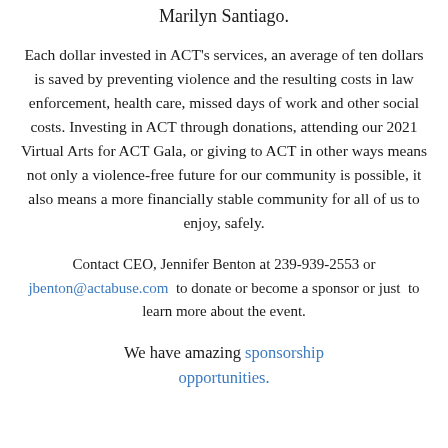Marilyn Santiago.
Each dollar invested in ACT's services, an average of ten dollars is saved by preventing violence and the resulting costs in law enforcement, health care, missed days of work and other social costs. Investing in ACT through donations, attending our 2021 Virtual Arts for ACT Gala, or giving to ACT in other ways means not only a violence-free future for our community is possible, it also means a more financially stable community for all of us to enjoy, safely.
Contact CEO, Jennifer Benton at 239-939-2553 or jbenton@actabuse.com  to donate or become a sponsor or just  to learn more about the event.
We have amazing sponsorship opportunities.